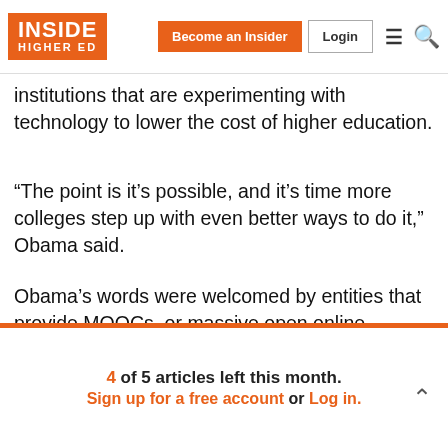INSIDE HIGHER ED | Become an Insider | Login
institutions that are experimenting with technology to lower the cost of higher education.
“The point is it’s possible, and it’s time more colleges step up with even better ways to do it,” Obama said.
Obama’s words were welcomed by entities that provide MOOCs, or massive open online courses. In a statement, edX President Anant Agarwal said Obama’s plan “has recognized the important role that technology needs to play in improving higher education.”
4 of 5 articles left this month. Sign up for a free account or Log in.